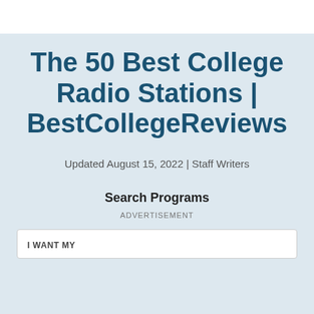The 50 Best College Radio Stations | BestCollegeReviews
Updated August 15, 2022 | Staff Writers
Search Programs
ADVERTISEMENT
I WANT MY